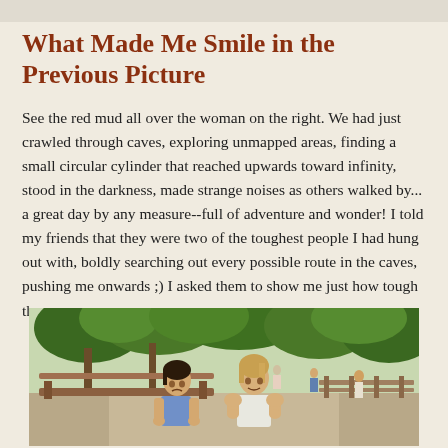What Made Me Smile in the Previous Picture
See the red mud all over the woman on the right. We had just crawled through caves, exploring unmapped areas, finding a small circular cylinder that reached upwards toward infinity, stood in the darkness, made strange noises as others walked by... a great day by any measure--full of adventure and wonder! I told my friends that they were two of the toughest people I had hung out with, boldly searching out every possible route in the caves, pushing me onwards ;) I asked them to show me just how tough they are...
[Figure (photo): Two women sitting on a bench outdoors in a park setting, posing to look tough. Green trees and a path with people in the background.]